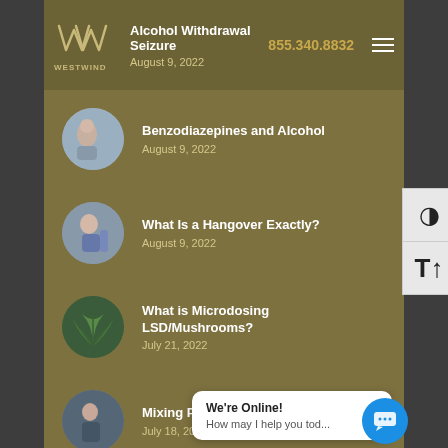[Figure (logo): Westwind Recovery logo — stylized W&W letters with WESTWIND text below]
Alcohol Withdrawal Seizure
August 9, 2022
Benzodiazepines and Alcohol
August 9, 2022
What Is a Hangover Exactly?
August 9, 2022
What is Microdosing LSD/Mushrooms?
July 21, 2022
Mixing Pain Pills and Alcohol
July 18, 2022
We're Online!
How may I help you tod...